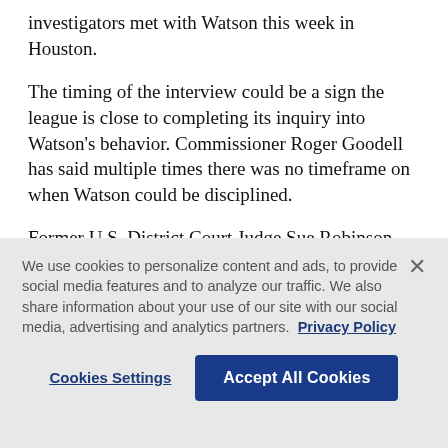investigators met with Watson this week in Houston.
The timing of the interview could be a sign the league is close to completing its inquiry into Watson's behavior. Commissioner Roger Goodell has said multiple times there was no timeframe on when Watson could be disciplined.
Former U.S. District Court Judge Sue Robinson, who was jointly appointed by the league and players' association, will review the league's findings and determine if Watson violated the league's policy
We use cookies to personalize content and ads, to provide social media features and to analyze our traffic. We also share information about your use of our site with our social media, advertising and analytics partners. Privacy Policy
Cookies Settings
Accept All Cookies